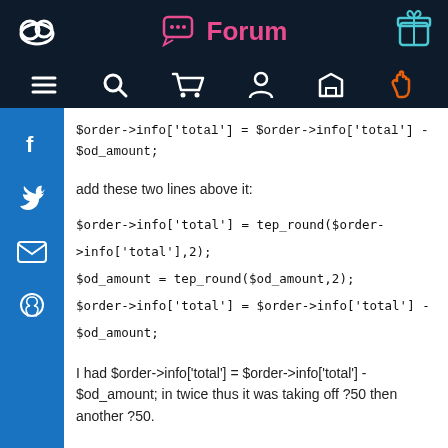Forum
add these two lines above it:
I had $order->info['total'] = $order->info['total'] - $od_amount; in twice thus it was taking off ?50 then another ?50.